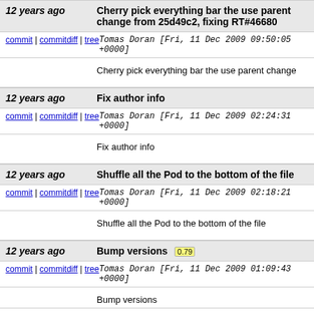12 years ago — Cherry pick everything bar the use parent change from 25d49c2, fixing RT#46680
commit | commitdiff | tree   Tomas Doran [Fri, 11 Dec 2009 09:50:05 +0000]
Cherry pick everything bar the use parent change
12 years ago — Fix author info
commit | commitdiff | tree   Tomas Doran [Fri, 11 Dec 2009 02:24:31 +0000]
Fix author info
12 years ago — Shuffle all the Pod to the bottom of the file
commit | commitdiff | tree   Tomas Doran [Fri, 11 Dec 2009 02:18:21 +0000]
Shuffle all the Pod to the bottom of the file
12 years ago — Bump versions 0.79
commit | commitdiff | tree   Tomas Doran [Fri, 11 Dec 2009 01:09:43 +0000]
Bump versions